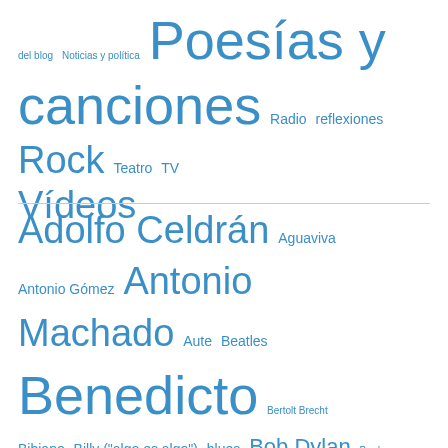del blog  Noticias y política  Poesías y canciones  Radio  reflexiones  Rock  Teatro  TV  Vídeos
Adolfo Celdrán  Aguaviva  Antonio Gómez  Antonio Machado  Aute  Beatles  Benedicto  Bertolt Brecht  Bibiano  Billy ("algo es algo")  blues  Bob Dylan  Byrds  canción de autor  Canción del Pueblo  Carlos Cano  Celso Emilio Ferreiro  Chanson  Chicho Sánchez Ferlosio  Elisa Serna  Federico García Lorca  folk  folk-rock  folk gallego